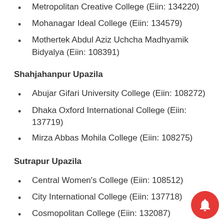Metropolitan Creative College (Eiin: 134220)
Mohanagar Ideal College (Eiin: 134579)
Mothertek Abdul Aziz Uchcha Madhyamik Bidyalya (Eiin: 108391)
Shahjahanpur Upazila
Abujar Gifari University College (Eiin: 108272)
Dhaka Oxford International College (Eiin: 137719)
Mirza Abbas Mohila College (Eiin: 108275)
Sutrapur Upazila
Central Women's College (Eiin: 108512)
City International College (Eiin: 137718)
Cosmopolitan College (Eiin: 132087)